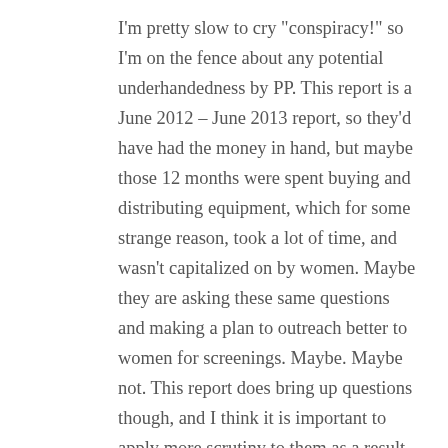I'm pretty slow to cry "conspiracy!" so I'm on the fence about any potential underhandedness by PP. This report is a June 2012 – June 2013 report, so they'd have had the money in hand, but maybe those 12 months were spent buying and distributing equipment, which for some strange reason, took a lot of time, and wasn't capitalized on by women. Maybe they are asking these same questions and making a plan to outreach better to women for screenings. Maybe. Maybe not. This report does bring up questions though, and I think it is important to apply more scrutiny to them as a result. If we are going to be honest with ourselves on